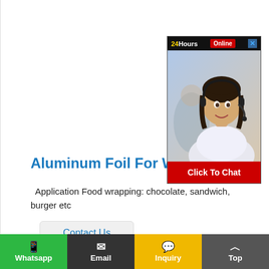[Figure (screenshot): 24 Hours Online chat widget with a customer service representative photo and 'Click To Chat' button]
Aluminum Foil For Wrapping
Application Food wrapping: chocolate, sandwich, burger etc
Contact Us
Whatsapp | Email | Inquiry | Top